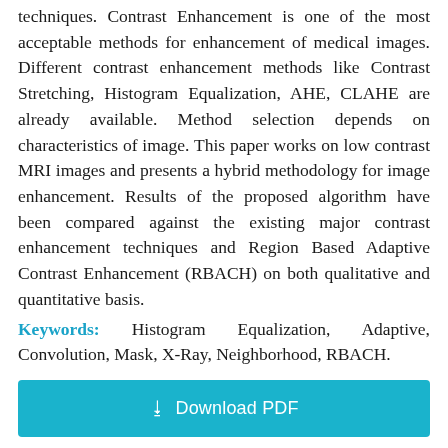techniques. Contrast Enhancement is one of the most acceptable methods for enhancement of medical images. Different contrast enhancement methods like Contrast Stretching, Histogram Equalization, AHE, CLAHE are already available. Method selection depends on characteristics of image. This paper works on low contrast MRI images and presents a hybrid methodology for image enhancement. Results of the proposed algorithm have been compared against the existing major contrast enhancement techniques and Region Based Adaptive Contrast Enhancement (RBACH) on both qualitative and quantitative basis.
Keywords: Histogram Equalization, Adaptive, Convolution, Mask, X-Ray, Neighborhood, RBACH.
[Figure (other): Download PDF button — a teal/cyan rectangular button with a download icon and the text 'Download PDF']